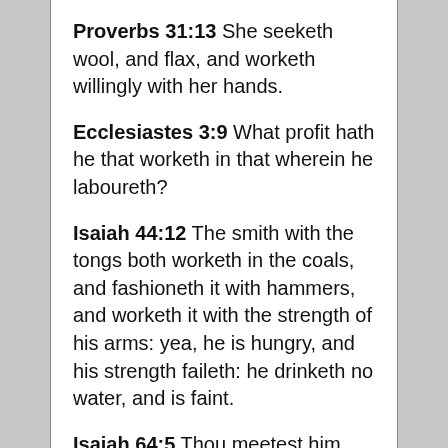Proverbs 31:13  She seeketh wool, and flax, and worketh willingly with her hands.
Ecclesiastes 3:9  What profit hath he that worketh in that wherein he laboureth?
Isaiah 44:12  The smith with the tongs both worketh in the coals, and fashioneth it with hammers, and worketh it with the strength of his arms: yea, he is hungry, and his strength faileth: he drinketh no water, and is faint.
Isaiah 64:5  Thou meetest him that rejoiceth and worketh…